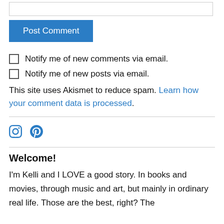[Figure (other): Text input box (form field)]
[Figure (other): Blue 'Post Comment' button]
Notify me of new comments via email.
Notify me of new posts via email.
This site uses Akismet to reduce spam. Learn how your comment data is processed.
[Figure (other): Social media icons: Instagram and Pinterest in blue]
Welcome!
I'm Kelli and I LOVE a good story. In books and movies, through music and art, but mainly in ordinary real life. Those are the best, right? The